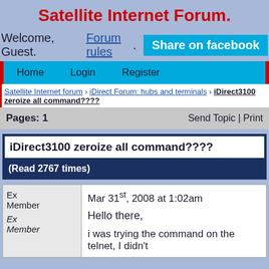Satellite Internet Forum.
Welcome, Guest.   Forum rules.  Share on facebook
Home   Login   Register
Satellite Internet forum › iDirect Forum: hubs and terminals › iDirect3100 zeroize all command????
Pages: 1   Send Topic | Print
iDirect3100 zeroize all command????
(Read 2767 times)
Ex Member   Ex Member   Mar 31st, 2008 at 1:02am   Hello there,   i was trying the command on the telnet, I didn't